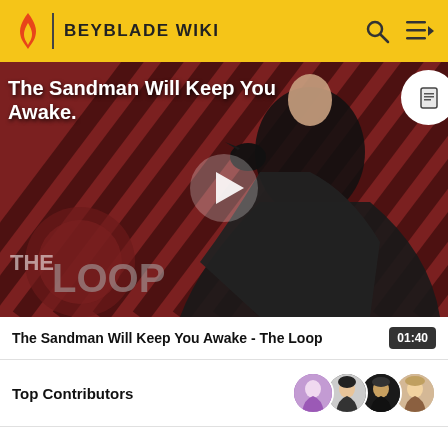BEYBLADE WIKI
[Figure (screenshot): Video thumbnail showing a dark figure in a black cape holding a raven, with diagonal red and dark stripe pattern background and 'THE LOOP' watermark. Title overlay reads 'The Sandman Will Keep You Awake.' with a play button in the center.]
The Sandman Will Keep You Awake - The Loop  01:40
Top Contributors
Categories